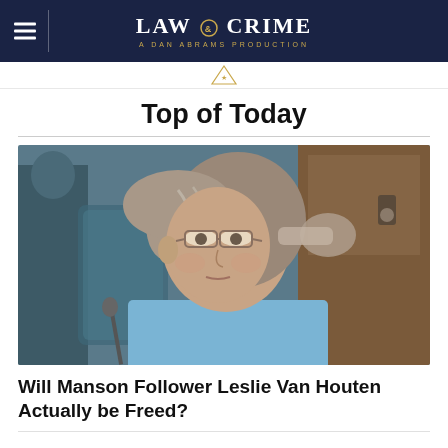LAW & CRIME — A DAN ABRAMS PRODUCTION
Top of Today
[Figure (photo): A middle-aged woman with glasses and gray-streaked hair pulled back, wearing a light blue shirt, seated in what appears to be a courtroom or hearing room setting.]
Will Manson Follower Leslie Van Houten Actually be Freed?